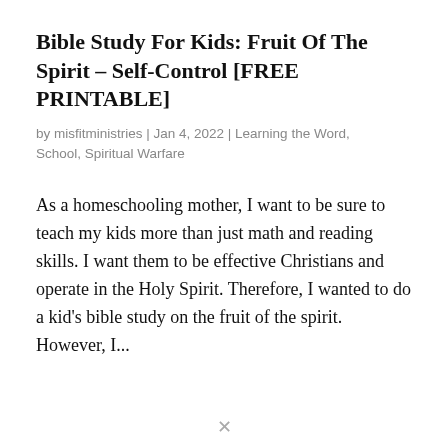Bible Study For Kids: Fruit Of The Spirit – Self-Control [FREE PRINTABLE]
by misfitministries | Jan 4, 2022 | Learning the Word, School, Spiritual Warfare
As a homeschooling mother, I want to be sure to teach my kids more than just math and reading skills. I want them to be effective Christians and operate in the Holy Spirit. Therefore, I wanted to do a kid's bible study on the fruit of the spirit. However, I...